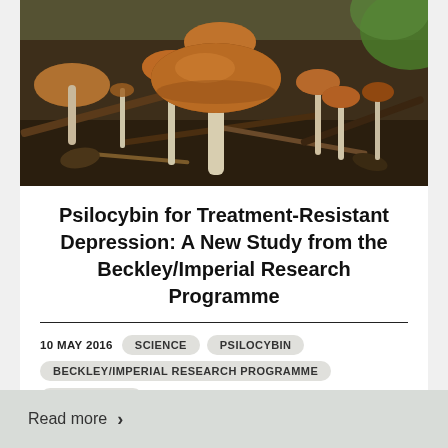[Figure (photo): Close-up photograph of wild mushrooms with brown caps growing on forest floor among wood debris and leaves]
Psilocybin for Treatment-Resistant Depression: A New Study from the Beckley/Imperial Research Programme
10 MAY 2016
SCIENCE
PSILOCYBIN
BECKLEY/IMPERIAL RESEARCH PROGRAMME
DEPRESSION
Read more